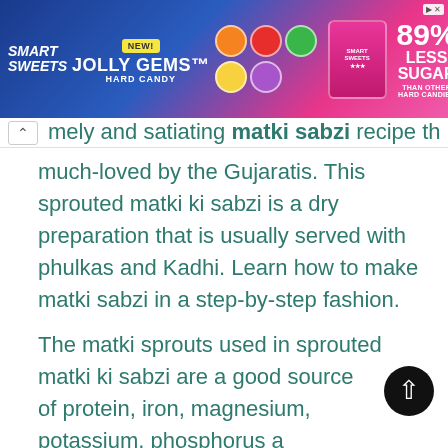[Figure (photo): Smart Sweets Jolly Gems Hard Candy advertisement banner. Blue and pink gradient background. Features Smart Sweets logo, NEW! badge, Jolly Gems Hard Candy text, colorful candy circles, product packaging image, '89% LESS SUGAR THAN OTHER HARD CANDIES' text, and yellow SHOP NOW button. Ad tag in top right corner.]
mely and satiating matki sabzi recipe that is much-loved by the Gujaratis. This sprouted matki ki sabzi is a dry preparation that is usually served with phulkas and Kadhi. Learn how to make matki sabzi in a step-by-step fashion.
The matki sprouts used in sprouted matki ki sabzi are a good source of protein, iron, magnesium, potassium, phosphorus a The help boost metabolism and give a feeling of satiety. Moreover the process of sprouting makes digestion easier and further increase their nutrie count as well. Read in detail about the benefits of sprouts.